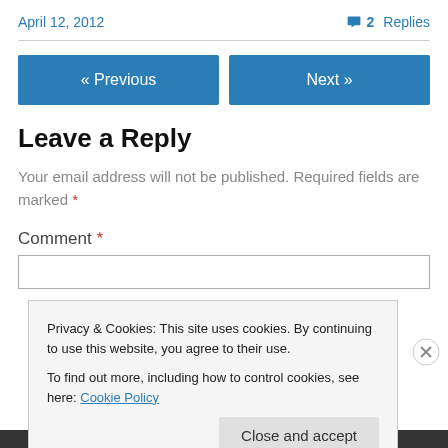April 12, 2012
💬 2 Replies
« Previous
Next »
Leave a Reply
Your email address will not be published. Required fields are marked *
Comment *
Privacy & Cookies: This site uses cookies. By continuing to use this website, you agree to their use.
To find out more, including how to control cookies, see here: Cookie Policy
Close and accept